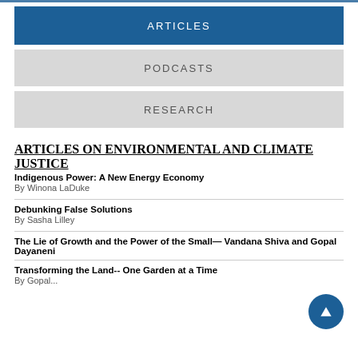ARTICLES
PODCASTS
RESEARCH
ARTICLES ON ENVIRONMENTAL AND CLIMATE JUSTICE
Indigenous Power: A New Energy Economy
By Winona LaDuke
Debunking False Solutions
By Sasha Lilley
The Lie of Growth and the Power of the Small— Vandana Shiva and Gopal Dayaneni
Transforming the Land-- One Garden at a Time
By Gopal...